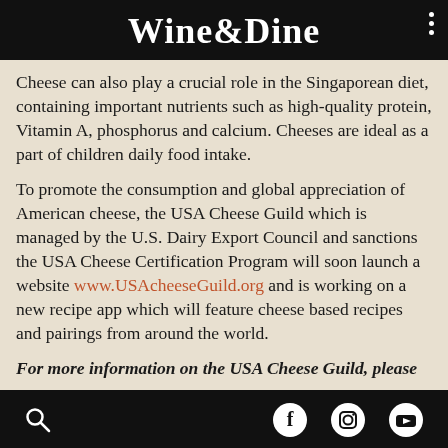Wine&Dine
Cheese can also play a crucial role in the Singaporean diet, containing important nutrients such as high-quality protein, Vitamin A, phosphorus and calcium. Cheeses are ideal as a part of children daily food intake.
To promote the consumption and global appreciation of American cheese, the USA Cheese Guild which is managed by the U.S. Dairy Export Council and sanctions the USA Cheese Certification Program will soon launch a website www.USAcheeseGuild.org and is working on a new recipe app which will feature cheese based recipes and pairings from around the world.
For more information on the USA Cheese Guild, please